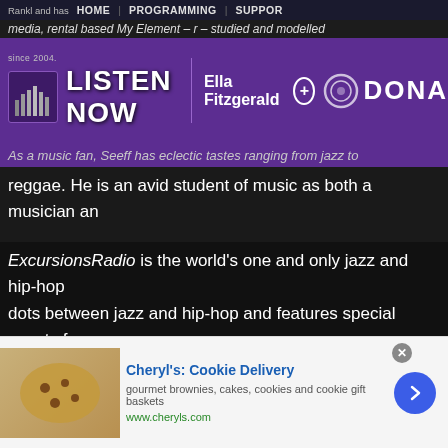HOME | PROGRAMMING | SUPPORT
[Figure (screenshot): Purple radio station banner with 'since 2004. LISTEN NOW' on left and 'Ella Fitzgerald +' and 'DONATE' on right, purple background with microphone icon]
As a music fan, Seeff has eclectic tastes ranging from jazz to reggae. He is an avid student of music as both a musician an
ExcursionsRadio is the world's one and only jazz and hip-hop dots between jazz and hip-hop and features special guests fr they create music and the role these two influential styles pla ExcursionsRadio plays music by artists like Miles Davis, A Tri Thelonious Monk, Digable Planets and many others, focusing directly from jazz. The show also features guests such as Ch Childs, Slum Village, and Gretchen Parlato.
[Figure (screenshot): Advertisement for Cheryl's Cookie Delivery showing cookie image, blue title text, description text, green URL, and blue arrow button]